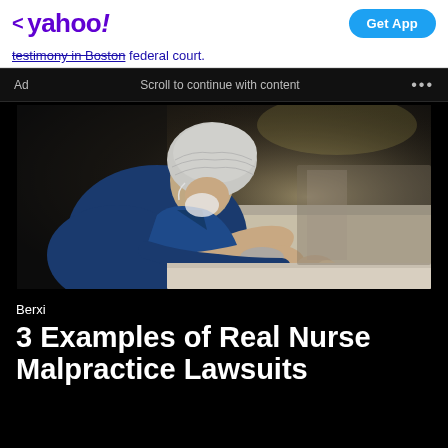< yahoo! | Get App
testimony in Boston federal court.
Ad   Scroll to continue with content   ...
[Figure (photo): A nurse in scrubs and hairnet leaning over a surface, appearing to concentrate on a medical task, in a dimly lit clinical environment.]
Berxi
3 Examples of Real Nurse Malpractice Lawsuits